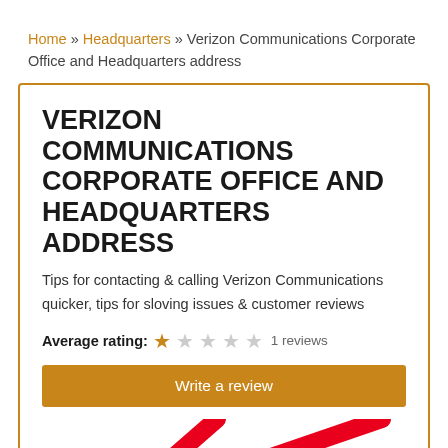Home » Headquarters » Verizon Communications Corporate Office and Headquarters address
VERIZON COMMUNICATIONS CORPORATE OFFICE AND HEADQUARTERS ADDRESS
Tips for contacting & calling Verizon Communications quicker, tips for sloving issues & customer reviews
Average rating: ★☆☆☆☆ 1 reviews
Write a review
[Figure (logo): Verizon logo with red lines at the bottom of the card]